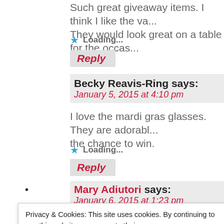Such great giveaway items. I think I like the va... They would look great on a table for the occas...
★ Loading...
Reply
Becky Reavis-Ring says:
January 5, 2015 at 4:10 pm
I love the mardi gras glasses. They are adorabl... the chance to win.
★ Loading...
Reply
Mary Adiutori says:
January 6, 2015 at 1:23 pm
Privacy & Cookies: This site uses cookies. By continuing to use this website, you agree to their use.
To find out more, including how to control cookies, see here: Cookie Policy
Close and accept
Mary L says: